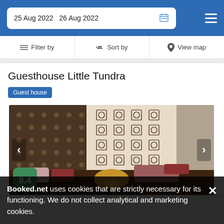25 Aug 2022   26 Aug 2022
Filter by   Sort by   View map
Guesthouse Little Tundra
Guest house
[Figure (photo): Interior of Guesthouse Little Tundra showing a room decorated with patterned textiles on walls, colorful cushions, and a golden lamp on a table]
8.4
Booked.net uses cookies that are strictly necessary for its functioning. We do not collect analytical and marketing cookies.